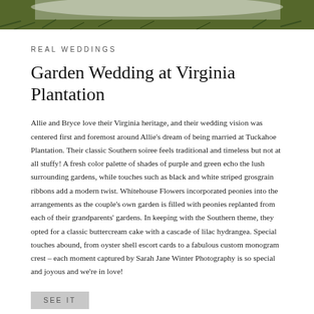[Figure (photo): Top portion of a wedding photo showing grass/garden background with partial view of wedding attire]
REAL WEDDINGS
Garden Wedding at Virginia Plantation
Allie and Bryce love their Virginia heritage, and their wedding vision was centered first and foremost around Allie's dream of being married at Tuckahoe Plantation. Their classic Southern soiree feels traditional and timeless but not at all stuffy! A fresh color palette of shades of purple and green echo the lush surrounding gardens, while touches such as black and white striped grosgrain ribbons add a modern twist. Whitehouse Flowers incorporated peonies into the arrangements as the couple's own garden is filled with peonies replanted from each of their grandparents' gardens. In keeping with the Southern theme, they opted for a classic buttercream cake with a cascade of lilac hydrangea. Special touches abound, from oyster shell escort cards to a fabulous custom monogram crest – each moment captured by Sarah Jane Winter Photography is so special and joyous and we're in love!